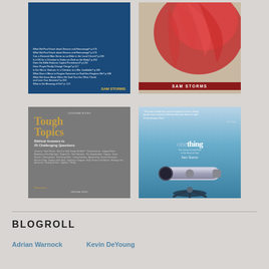[Figure (illustration): Book cover: dark blue background with list of text and author name SAM STORMS in yellow]
[Figure (illustration): Book cover: red and cream artistic cover with SAM STORMS on dark red banner]
[Figure (illustration): Book cover: 'Tough Topics - Biblical Answers to 25 Challenging Questions' by Sam Storms, gray background with gold title]
[Figure (illustration): Book cover: 'one thing' by Sam Storms, blue background with telescope image and John Piper quote]
BLOGROLL
Adrian Warnock
Kevin DeYoung